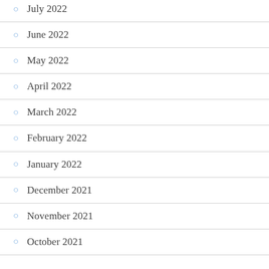July 2022
June 2022
May 2022
April 2022
March 2022
February 2022
January 2022
December 2021
November 2021
October 2021